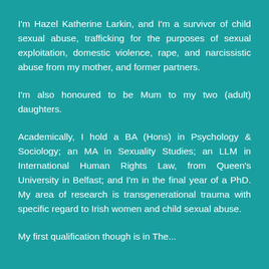I'm Hazel Katherine Larkin, and I'm a survivor of child sexual abuse, trafficking for the purposes of sexual exploitation, domestic violence, rape, and narcissistic abuse from my mother, and former partners.
I'm also honoured to be Mum to my two (adult) daughters.
Academically, I hold a BA (Hons) in Psychology & Sociology; an MA in Sexuality Studies; an LLM in International Human Rights Law, from Queen's University in Belfast; and I'm in the final year of a PhD. My area of research is transgenerational trauma with specific regard to Irish women and child sexual abuse.
My first qualification though is in The...